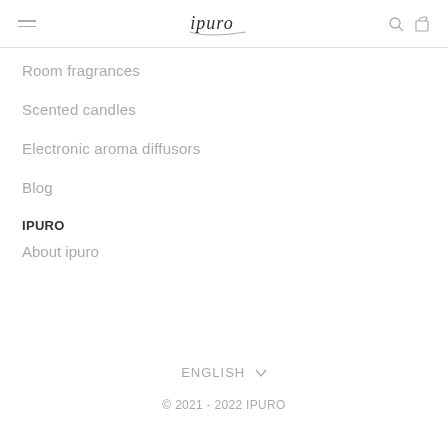ipuro
Room fragrances
Scented candles
Electronic aroma diffusors
Blog
IPURO
About ipuro
ENGLISH ∨
© 2021 - 2022 IPURO